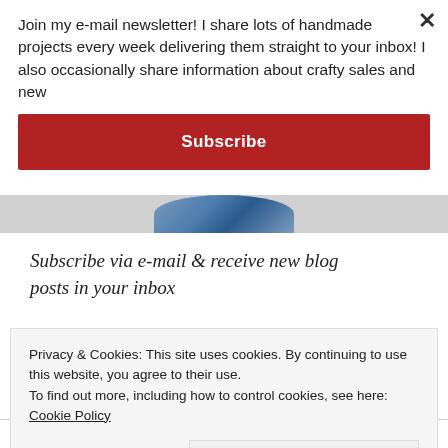Join my e-mail newsletter! I share lots of handmade projects every week delivering them straight to your inbox! I also occasionally share information about crafty sales and new
Subscribe
[Figure (photo): Partial circular photo of a person wearing blue fabric/denim, cropped at the bottom of the popup overlay]
Subscribe via e-mail & receive new blog posts in your inbox
* indicates required
Privacy & Cookies: This site uses cookies. By continuing to use this website, you agree to their use.
To find out more, including how to control cookies, see here: Cookie Policy
Close and accept